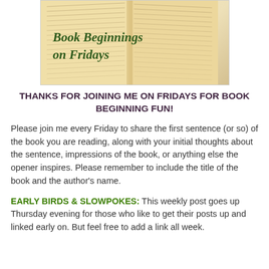[Figure (illustration): Open book with text pages visible, overlaid with italic bold green text reading 'Book Beginnings on Fridays']
THANKS FOR JOINING ME ON FRIDAYS FOR BOOK BEGINNING FUN!
Please join me every Friday to share the first sentence (or so) of the book you are reading, along with your initial thoughts about the sentence, impressions of the book, or anything else the opener inspires. Please remember to include the title of the book and the author's name.
EARLY BIRDS & SLOWPOKES: This weekly post goes up Thursday evening for those who like to get their posts up and linked early on. But feel free to add a link all week.